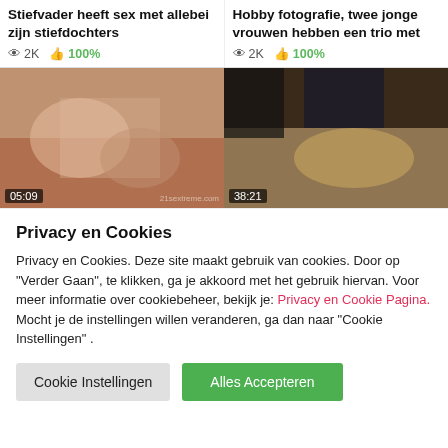Stiefvader heeft sex met allebei zijn stiefdochters
2K  100%
Hobby fotografie, twee jonge vrouwen hebben een trio met
2K  100%
[Figure (photo): Video thumbnail with duration 05:09]
[Figure (photo): Video thumbnail with duration 38:21]
Privacy en Cookies
Privacy en Cookies. Deze site maakt gebruik van cookies. Door op "Verder Gaan", te klikken, ga je akkoord met het gebruik hiervan. Voor meer informatie over cookiebeheer, bekijk je: Privacy en Cookie Pagina. Mocht je de instellingen willen veranderen, ga dan naar "Cookie Instellingen" .
Cookie Instellingen   Alles Accepteren